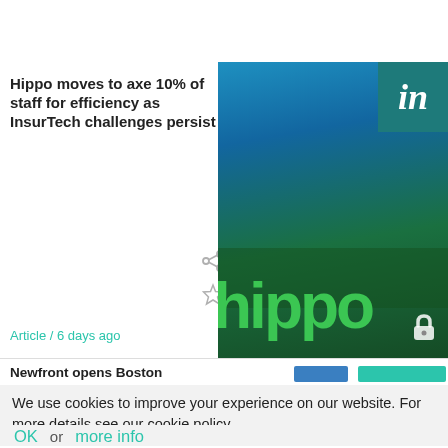[Figure (logo): Teal circular logo with white lightning bolt / notification icon]
Hippo moves to axe 10% of staff for efficiency as InsurTech challenges persist
[Figure (photo): Hippo Insurance branded building photo at dusk with green Hippo logo text overlay, and LinkedIn badge in top-right corner with teal lock icon at bottom-right]
Article / 6 days ago
Newfront opens Boston
We use cookies to improve your experience on our website. For more details see our cookie policy.
OK  or  more info